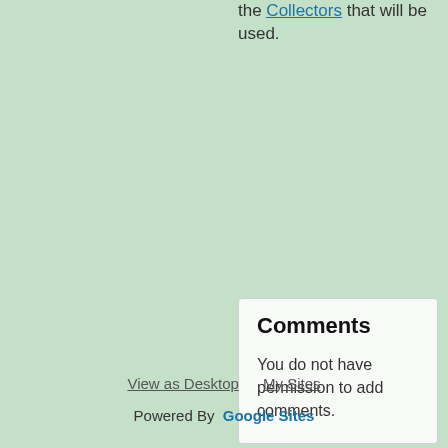the Collectors that will be used.
Comments
You do not have permission to add comments.
View as Desktop   My Sites   Powered By Google Sites